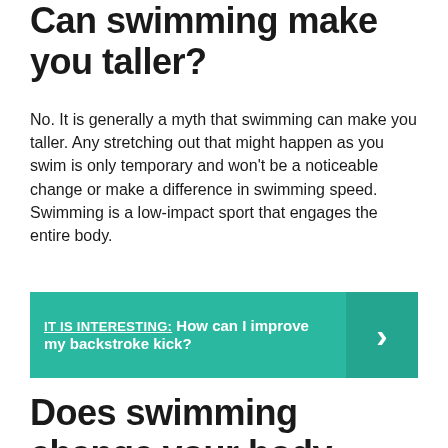Can swimming make you taller?
No. It is generally a myth that swimming can make you taller. Any stretching out that might happen as you swim is only temporary and won't be a noticeable change or make a difference in swimming speed. Swimming is a low-impact sport that engages the entire body.
IT IS INTERESTING: How can I improve my backstroke kick?
Does swimming change your body shape?